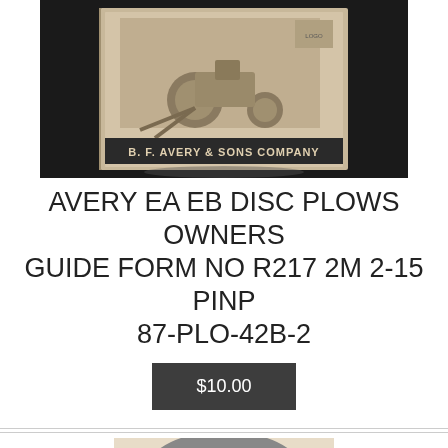[Figure (photo): Photo of a B.F. Avery & Sons Company disc plow owners guide/manual booklet lying on a dark surface, showing an illustration of a tractor with disc plows on the cover.]
AVERY EA EB DISC PLOWS OWNERS GUIDE FORM NO R217 2M 2-15 PINP 87-PLO-42B-2
$10.00
[Figure (photo): Partial photo of a rounded metallic or rubber ring/gasket object on a beige background, cropped at the bottom of the page.]